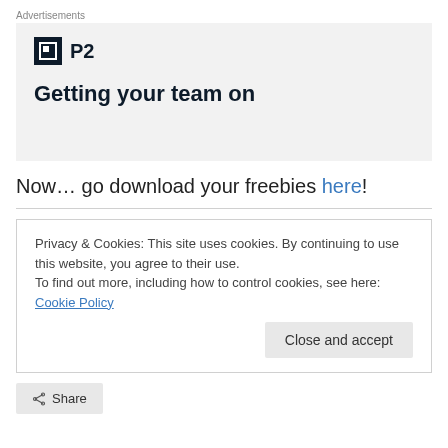Advertisements
[Figure (illustration): P2 advertisement banner with logo and headline 'Getting your team on']
Now… go download your freebies here!
Privacy & Cookies: This site uses cookies. By continuing to use this website, you agree to their use.
To find out more, including how to control cookies, see here: Cookie Policy
Close and accept
Share